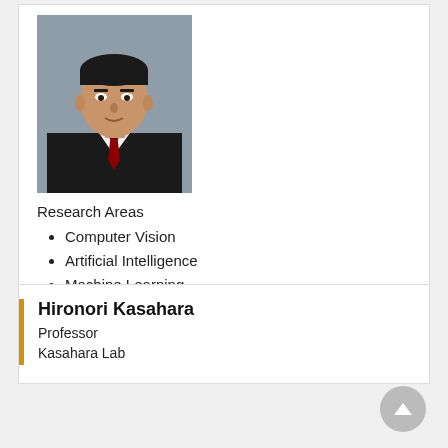[Figure (photo): Professional headshot of a man in a dark suit with a red tie, against a gray background]
Research Areas
Computer Vision
Artificial Intelligence
Machine Learning
Laboratory Website
Hironori Kasahara
Professor
Kasahara Lab